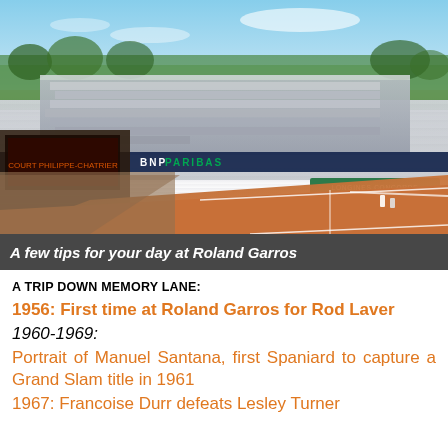[Figure (photo): Aerial/ground level view of a packed Roland Garros clay tennis court (Court Philippe-Chatrier) with large crowds filling the stands, BNP Paribas banner visible, surrounded by trees and blue sky, during a match.]
A few tips for your day at Roland Garros
A TRIP DOWN MEMORY LANE:
1956: First time at Roland Garros for Rod Laver
1960-1969:
Portrait of Manuel Santana, first Spaniard to capture a Grand Slam title in 1961
1967: Francoise Durr defeats Lesley Turner